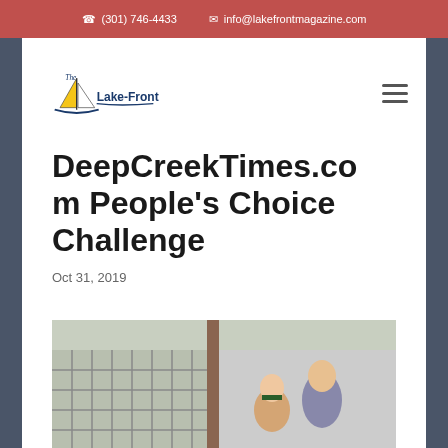(301) 746-4433   info@lakefrontmagazine.com
[Figure (logo): The Lake-Front magazine logo with sailboat icon]
DeepCreekTimes.com People's Choice Challenge
Oct 31, 2019
[Figure (photo): Two people standing inside a large indoor facility with metal cage/fence structures visible in background]